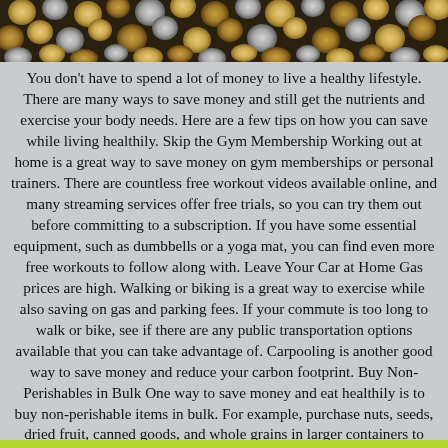[Figure (photo): Close-up photograph of many coins (pennies, nickels, dimes, quarters) scattered together, viewed from above, filling the header strip.]
You don't have to spend a lot of money to live a healthy lifestyle. There are many ways to save money and still get the nutrients and exercise your body needs. Here are a few tips on how you can save while living healthily. Skip the Gym Membership Working out at home is a great way to save money on gym memberships or personal trainers. There are countless free workout videos available online, and many streaming services offer free trials, so you can try them out before committing to a subscription. If you have some essential equipment, such as dumbbells or a yoga mat, you can find even more free workouts to follow along with. Leave Your Car at Home Gas prices are high. Walking or biking is a great way to exercise while also saving on gas and parking fees. If your commute is too long to walk or bike, see if there are any public transportation options available that you can take advantage of. Carpooling is another good way to save money and reduce your carbon footprint. Buy Non-Perishables in Bulk One way to save money and eat healthily is to buy non-perishable items in bulk. For example, purchase nuts, seeds, dried fruit, canned goods, and whole grains in larger containers to store for later. This healthy step can help you save money in the long run and ensures you always have healthy